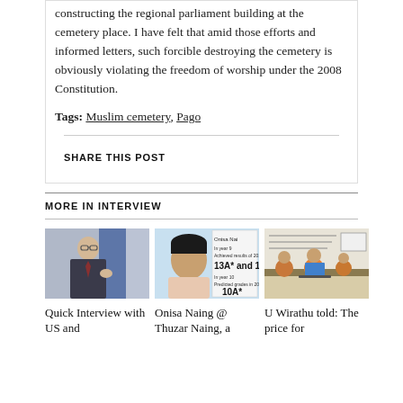constructing the regional parliament building at the cemetery place. I have felt that amid those efforts and informed letters, such forcible destroying the cemetery is obviously violating the freedom of worship under the 2008 Constitution.
Tags: Muslim cemetery, Pago
SHARE THIS POST
MORE IN INTERVIEW
[Figure (photo): Photo of a man in a suit gesturing, with US and another flag in background]
Quick Interview with US and
[Figure (photo): Photo of Onisa Naing / Thuzar Naing with academic achievement certificate showing 13A* and 1, 10A*]
Onisa Naing @ Thuzar Naing, a
[Figure (photo): Photo of U Wirathu and monks at a table with a whiteboard in background]
U Wirathu told: The price for